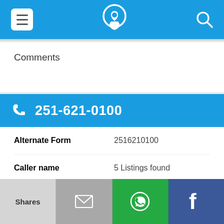Menu | Phone Lookup | Search
Comments
251-621-0100
| Field | Value |
| --- | --- |
| Alternate Form | 2516210100 |
| Caller name | 5 Listings found |
| URL | https://www.facebook.co... |
| Last User Search | No searches yet |
Shares | Email | WhatsApp | Facebook